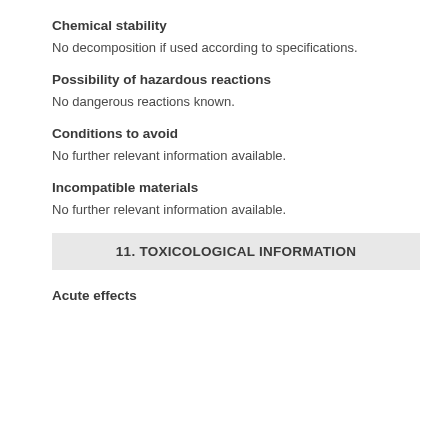Chemical stability
No decomposition if used according to specifications.
Possibility of hazardous reactions
No dangerous reactions known.
Conditions to avoid
No further relevant information available.
Incompatible materials
No further relevant information available.
11. TOXICOLOGICAL INFORMATION
Acute effects